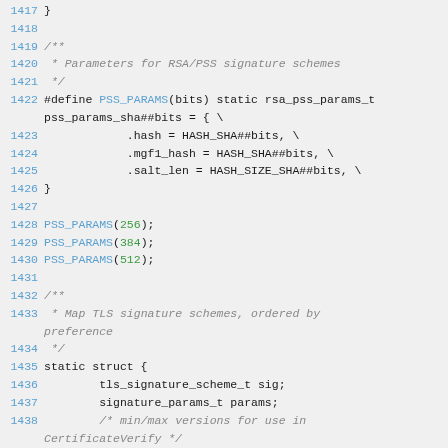Source code listing lines 1417-1438, C code with RSA/PSS signature scheme parameters and TLS signature scheme struct definition